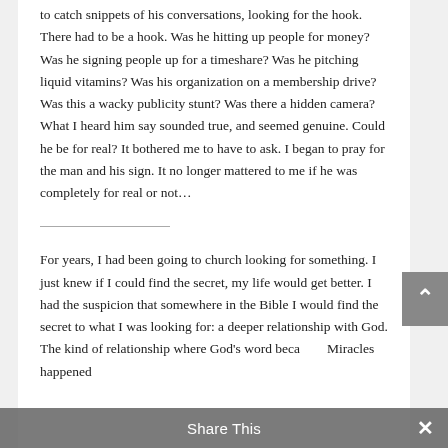to catch snippets of his conversations, looking for the hook. There had to be a hook. Was he hitting up people for money? Was he signing people up for a timeshare? Was he pitching liquid vitamins? Was his organization on a membership drive? Was this a wacky publicity stunt? Was there a hidden camera? What I heard him say sounded true, and seemed genuine. Could he be for real? It bothered me to have to ask. I began to pray for the man and his sign. It no longer mattered to me if he was completely for real or not…
For years, I had been going to church looking for something. I just knew if I could find the secret, my life would get better. I had the suspicion that somewhere in the Bible I would find the secret to what I was looking for: a deeper relationship with God. The kind of relationship where God's word beca… Miracles happened